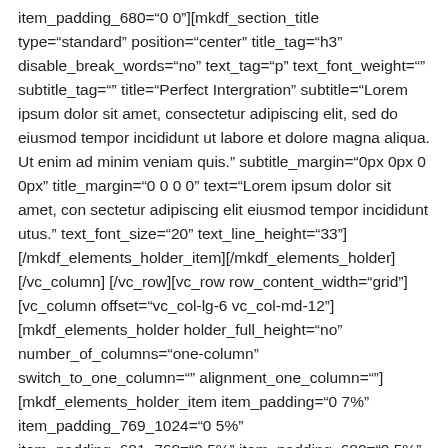item_padding_680="0 0"][mkdf_section_title type="standard" position="center" title_tag="h3" disable_break_words="no" text_tag="p" text_font_weight="" subtitle_tag="" title="Perfect Intergration" subtitle="Lorem ipsum dolor sit amet, consectetur adipiscing elit, sed do eiusmod tempor incididunt ut labore et dolore magna aliqua. Ut enim ad minim veniam quis." subtitle_margin="0px 0px 0 0px" title_margin="0 0 0 0" text="Lorem ipsum dolor sit amet, con sectetur adipiscing elit eiusmod tempor incididunt utus." text_font_size="20" text_line_height="33"] [/mkdf_elements_holder_item][/mkdf_elements_holder][/vc_column] [/vc_row][vc_row row_content_width="grid"][vc_column offset="vc_col-lg-6 vc_col-md-12"][mkdf_elements_holder holder_full_height="no" number_of_columns="one-column" switch_to_one_column="" alignment_one_column=""][mkdf_elements_holder_item item_padding="0 7%" item_padding_769_1024="0 5%" item_padding_681_768="0 5%" item_padding_680="0 5%" item_padding_1025_1366="0 6%"] [mkdf_section_title type="standard" position="left" title_tag="h3" disable_break_words="no" text_tag="p" text_font_weight="" subtitle_tag="h6" title="Creative App Display" subtitle="Lorem ipsum dolor